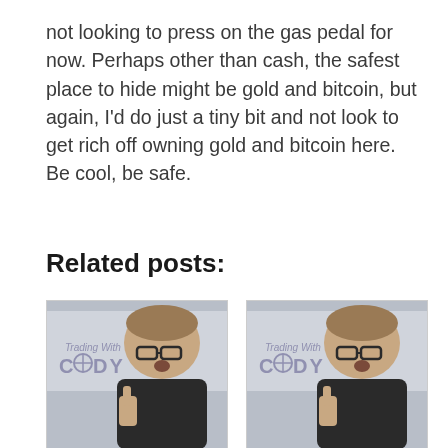not looking to press on the gas pedal for now. Perhaps other than cash, the safest place to hide might be gold and bitcoin, but again, I'd do just a tiny bit and not look to get rich off owning gold and bitcoin here. Be cool, be safe.
Related posts:
[Figure (photo): Photo of a man with glasses in front of a screen showing 'Trading With CODY' logo]
[Figure (photo): Photo of a man with glasses in front of a screen showing 'Trading With CODY' logo (duplicate)]